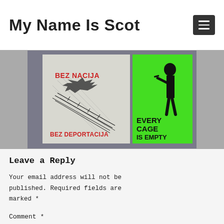My Name Is Scot
[Figure (photo): Two protest posters on a wall. Left poster is white with red and black text reading 'BEZ NACIJA BEZ DEPORTACIJA' (No Nations No Deportations) with a bird/barbed wire graphic. Right poster is bright green with black silhouette and text reading 'EVERY CAGE IS EMPTY'.]
Leave a Reply
Your email address will not be published. Required fields are marked *
Comment *